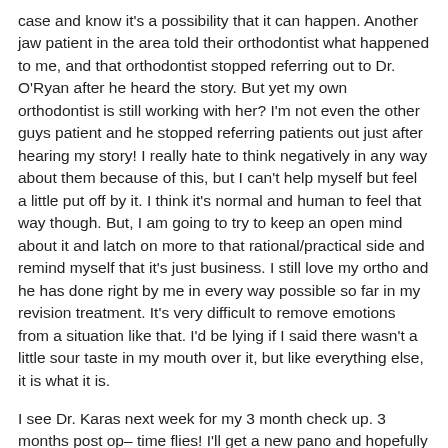case and know it's a possibility that it can happen.  Another jaw patient in the area told their orthodontist what happened to me, and that orthodontist stopped referring out to Dr. O'Ryan after he heard the story.  But yet my own orthodontist is still working with her?  I'm  not even the other guys patient and he stopped referring patients out just after hearing my story!  I really hate to think negatively in any way about them because of this, but I can't help myself but feel a little put off by it.  I think it's normal and human to feel that way though.  But, I am going to try to keep an open mind about it and latch on more to that rational/practical side and remind myself that it's just business.  I still love my ortho and he has done right by me in every way possible so far in my revision treatment. It's very difficult to remove emotions from a situation like that.  I'd be lying if I said there wasn't a little sour taste in my mouth over it, but like everything else, it is what it is.
I see Dr. Karas next week for my 3 month check up.  3 months post op– time flies!  I'll get a new pano and hopefully get some updated records from him.  I think I am going to ask him what the plan is for my deviated septum down the road in the not too distant future.  I am not sure if he can do it or if he'll send me to an ENT.  If he can do it, I might ask him to